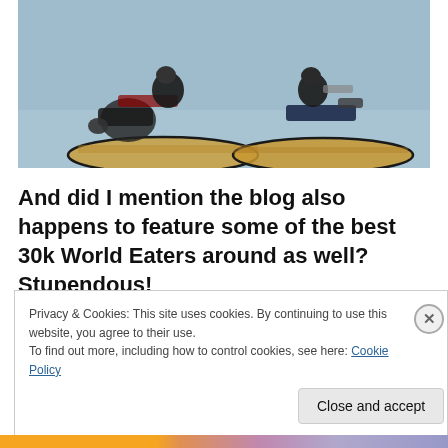[Figure (photo): Two painted Warhammer 30k World Eaters motorcycle miniatures on sandy oval bases against a light blue-grey background]
And did I mention the blog also happens to feature some of the best 30k World Eaters around as well? Stupendous!
Privacy & Cookies: This site uses cookies. By continuing to use this website, you agree to their use.
To find out more, including how to control cookies, see here: Cookie Policy
Close and accept